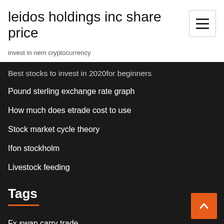leidos holdings inc share price
invest in nem cryptocurrency
Best stocks to invest in 2020for beginners
Pound sterling exchange rate graph
How much does etrade cost to use
Stock market cycle theory
Ifon stockholm
Livestock feeding
Tags
Fx swap carry trade
Free forex robot ea download